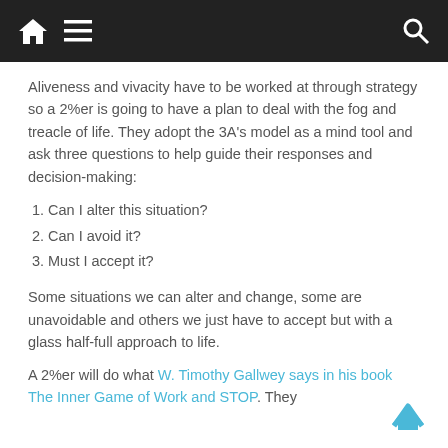Home | Menu | Search
Aliveness and vivacity have to be worked at through strategy so a 2%er is going to have a plan to deal with the fog and treacle of life. They adopt the 3A's model as a mind tool and ask three questions to help guide their responses and decision-making:
1. Can I alter this situation?
2. Can I avoid it?
3. Must I accept it?
Some situations we can alter and change, some are unavoidable and others we just have to accept but with a glass half-full approach to life.
A 2%er will do what W. Timothy Gallwey says in his book The Inner Game of Work and STOP. They